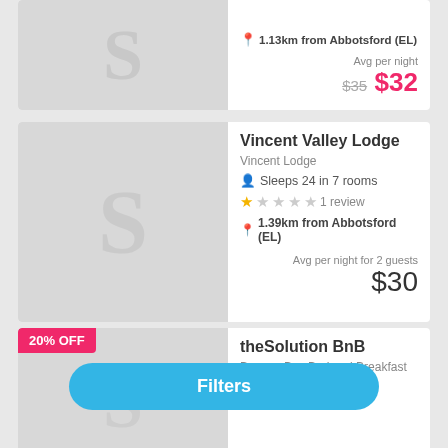1.13km from Abbotsford (EL)
Avg per night $35 $32
Vincent Valley Lodge
Vincent Lodge
Sleeps 24 in 7 rooms
1 review
1.39km from Abbotsford (EL)
Avg per night for 2 guests $30
20% OFF
theSolution BnB
Beacon Bay Bed and Breakfast
Sleeps 8 in 4 rooms
Avg per night for 2 guests